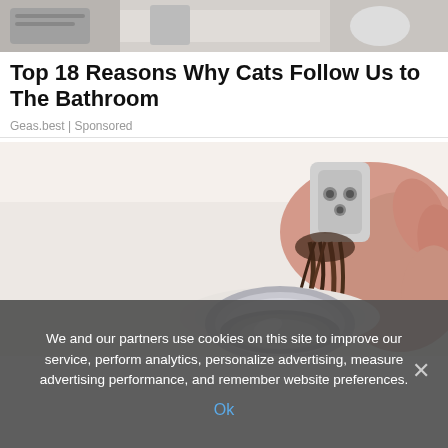[Figure (photo): Top portion of a bathroom scene, partially cropped]
Top 18 Reasons Why Cats Follow Us to The Bathroom
Geas.best | Sponsored
[Figure (photo): A person's hand pulling hair and debris out of a bathroom sink drain stopper, with a chrome drain visible below]
We and our partners use cookies on this site to improve our service, perform analytics, personalize advertising, measure advertising performance, and remember website preferences.
Ok